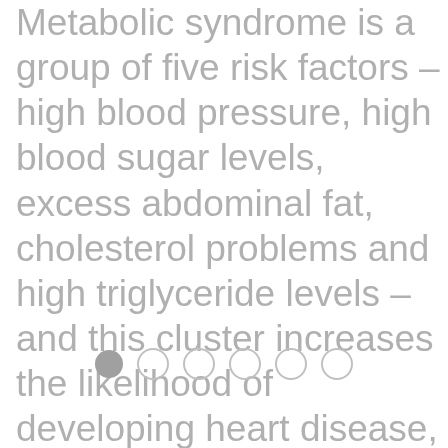Metabolic syndrome is a group of five risk factors – high blood pressure, high blood sugar levels, excess abdominal fat, cholesterol problems and high triglyceride levels – and this cluster increases the likelihood of developing heart disease, diabetes, and stroke.9
[Figure (other): Pagination indicator showing 6 dots, with the first dot filled/solid and the remaining 5 as outlines]